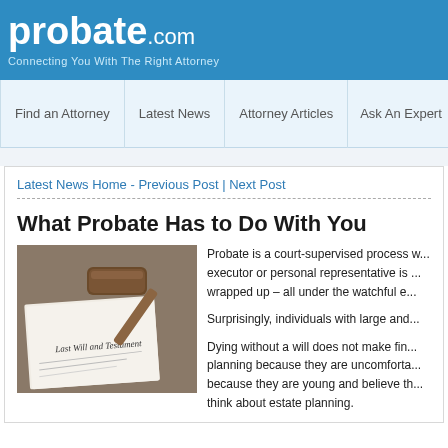probate.com — Connecting You With The Right Attorney
Find an Attorney | Latest News | Attorney Articles | Ask An Expert | Info
Latest News Home - Previous Post | Next Post
What Probate Has to Do With You
[Figure (photo): Photo of a judge's gavel resting on a Last Will and Testament document]
Probate is a court-supervised process w... executor or personal representative is ... wrapped up – all under the watchful e...
Surprisingly, individuals with large and...
Dying without a will does not make fin... planning because they are uncomforta... because they are young and believe th... think about estate planning.